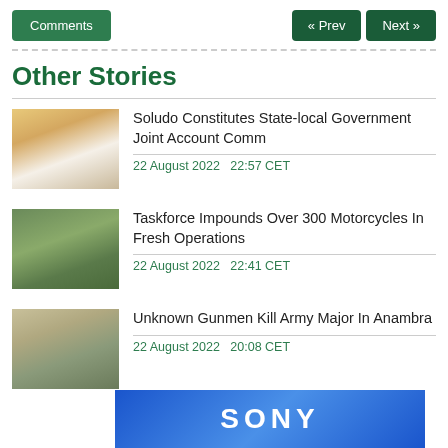Comments  « Prev  Next »
Other Stories
[Figure (photo): Portrait photo of a smiling man in a white outfit and cap]
Soludo Constitutes State-local Government Joint Account Comm
22 August 2022   22:57 CET
[Figure (photo): Crowd of people, appears to be a group or taskforce scene]
Taskforce Impounds Over 300 Motorcycles In Fresh Operations
22 August 2022   22:41 CET
[Figure (photo): Military officer in camouflage uniform and beret]
Unknown Gunmen Kill Army Major In Anambra
22 August 2022   20:08 CET
[Figure (other): Sony advertisement banner in blue]